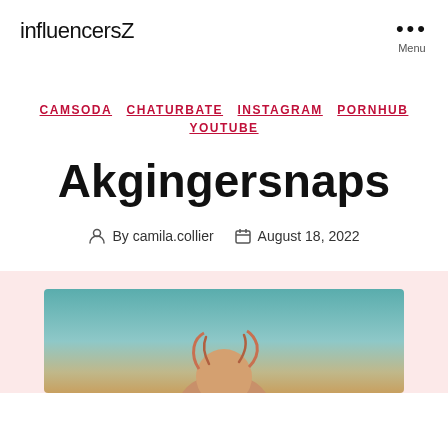influencersZ
Menu
CAMSODA  CHATURBATE  INSTAGRAM  PORNHUB  YOUTUBE
Akgingersnaps
By camila.collier   August 18, 2022
[Figure (photo): Photo of person with hair, teal/teal-green background]